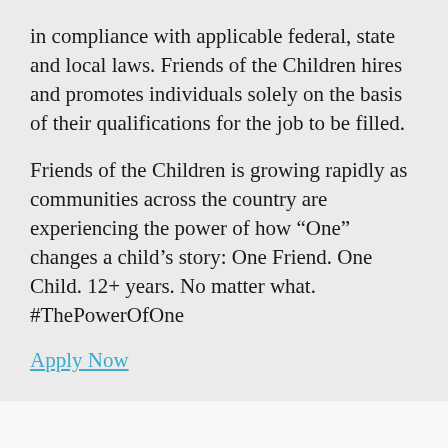in compliance with applicable federal, state and local laws. Friends of the Children hires and promotes individuals solely on the basis of their qualifications for the job to be filled.
Friends of the Children is growing rapidly as communities across the country are experiencing the power of how “One” changes a child’s story: One Friend. One Child. 12+ years. No matter what. #ThePowerOfOne
Apply Now
DETROIT